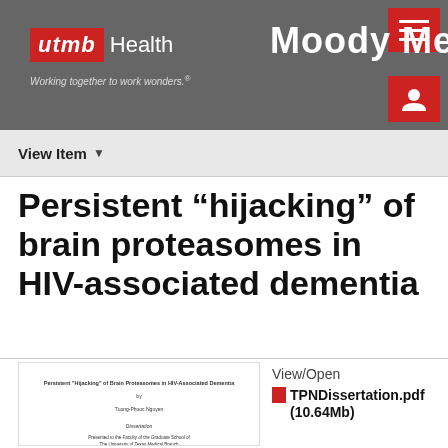[Figure (screenshot): UTMB Health / Moody Medical library website header with logo, tagline, hamburger menu button, user icon, and navigation bar with View Item dropdown]
Persistent “hipjacking” of brain proteasomes in HIV-associated dementia
[Figure (screenshot): Thumbnail of dissertation document title page]
View/Open
TPNDissertation.pdf (10.64Mb)